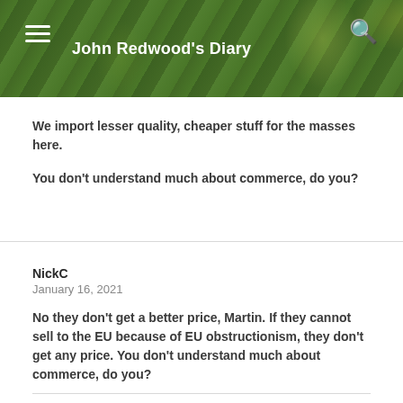John Redwood's Diary
We import lesser quality, cheaper stuff for the masses here.
You don't understand much about commerce, do you?
NickC
January 16, 2021
No they don't get a better price, Martin. If they cannot sell to the EU because of EU obstructionism, they don't get any price. You don't understand much about commerce, do you?